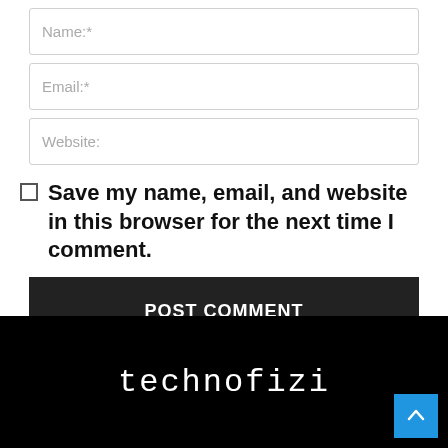Name:*
Email:*
Website:
Save my name, email, and website in this browser for the next time I comment.
POST COMMENT
technofizi